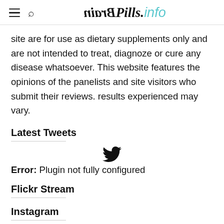BrainPills.info
site are for use as dietary supplements only and are not intended to treat, diagnoze or cure any disease whatsoever. This website features the opinions of the panelists and site visitors who submit their reviews. results experienced may vary.
Latest Tweets
[Figure (illustration): Twitter bird icon]
Error: Plugin not fully configured
Flickr Stream
Instagram